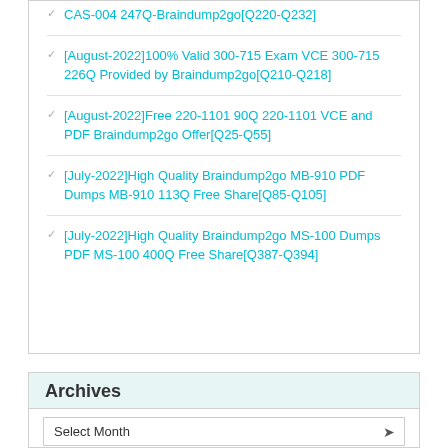CAS-004 247Q-Braindump2go[Q220-Q232]
[August-2022]100% Valid 300-715 Exam VCE 300-715 226Q Provided by Braindump2go[Q210-Q218]
[August-2022]Free 220-1101 90Q 220-1101 VCE and PDF Braindump2go Offer[Q25-Q55]
[July-2022]High Quality Braindump2go MB-910 PDF Dumps MB-910 113Q Free Share[Q85-Q105]
[July-2022]High Quality Braindump2go MS-100 Dumps PDF MS-100 400Q Free Share[Q387-Q394]
Archives